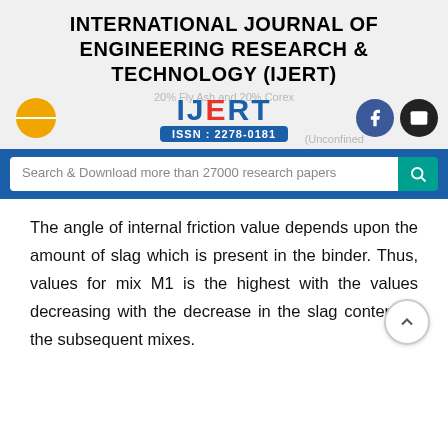INTERNATIONAL JOURNAL OF ENGINEERING RESEARCH & TECHNOLOGY (IJERT)
[Figure (logo): IJERT logo with ISSN: 2278-0181, hamburger menu button (orange), Facebook and email social icons]
Search & Download more than 27000 research papers
The angle of internal friction value depends upon the amount of slag which is present in the binder. Thus, values for mix M1 is the highest with the values decreasing with the decrease in the slag content in the subsequent mixes.